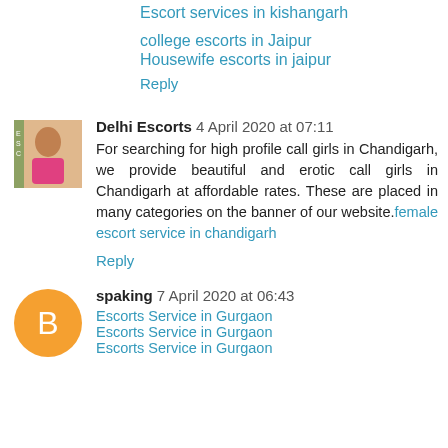Escort services in kishangarh
college escorts in Jaipur
Housewife escorts in jaipur
Reply
Delhi Escorts  4 April 2020 at 07:11
For searching for high profile call girls in Chandigarh, we provide beautiful and erotic call girls in Chandigarh at affordable rates. These are placed in many categories on the banner of our website. female escort service in chandigarh
Reply
spaking  7 April 2020 at 06:43
Escorts Service in Gurgaon
Escorts Service in Gurgaon
Escorts Service in Gurgaon